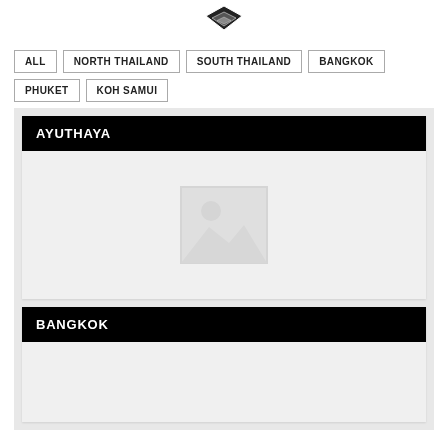[Figure (logo): Diamond/chevron shaped logo icon at top center]
ALL
NORTH THAILAND
SOUTH THAILAND
BANGKOK
PHUKET
KOH SAMUI
AYUTHAYA
[Figure (photo): Placeholder image for Ayuthaya section]
BANGKOK
[Figure (photo): Placeholder image for Bangkok section]